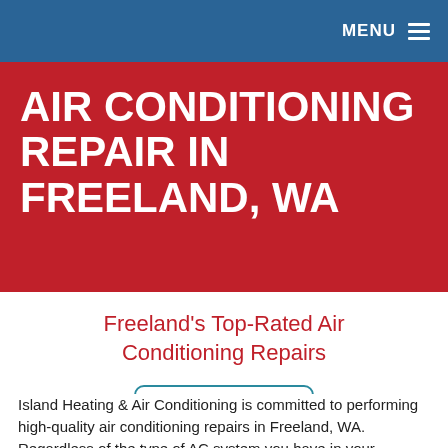MENU
AIR CONDITIONING REPAIR IN FREELAND, WA
Freeland's Top-Rated Air Conditioning Repairs
[Figure (logo): BBB A+ rating badge with blue border. Left side shows BBB torch logo and 'BBB.' text. Right side shows 'A+' and 'rating' in blue.]
Island Heating & Air Conditioning is committed to performing high-quality air conditioning repairs in Freeland, WA. Regardless of the type of AC system you have in your Whidbey Island home, we can